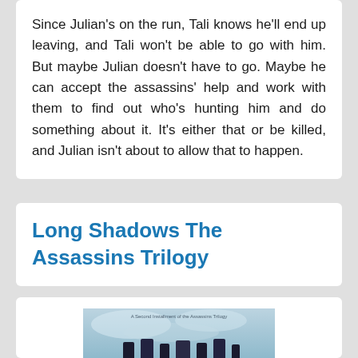Since Julian's on the run, Tali knows he'll end up leaving, and Tali won't be able to go with him. But maybe Julian doesn't have to go. Maybe he can accept the assassins' help and work with them to find out who's hunting him and do something about it. It's either that or be killed, and Julian isn't about to allow that to happen.
Long Shadows The Assassins Trilogy
[Figure (photo): Book cover image for 'Long Shadows The Assassins Trilogy' - a second installment of the Assassins Trilogy. The cover features a blue-grey icy or snowy texture background with dark vertical shapes resembling figures or bars at the bottom, and text overlay.]